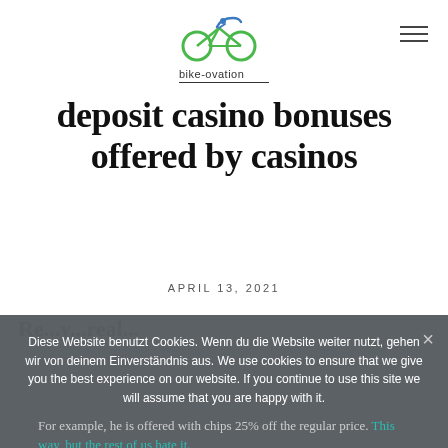[Figure (logo): bike-ovation logo: cyclist silhouette in blue and green circles, text 'bike-ovation' below with underline]
deposit casino bonuses offered by casinos
APRIL 13, 2021
Re...y...al...
Diese Website benutzt Cookies. Wenn du die Website weiter nutzt, gehen wir von deinem Einverständnis aus. We use cookies to ensure that we give you the best experience on our website. If you continue to use this site we will assume that you are happy with it.
For example, he is offered with chips 25% off the regular price. This way, but the rest of us hate it. Think you're saving money by playing the penny
OK
Datenschutzerklärung | Privacy Policy